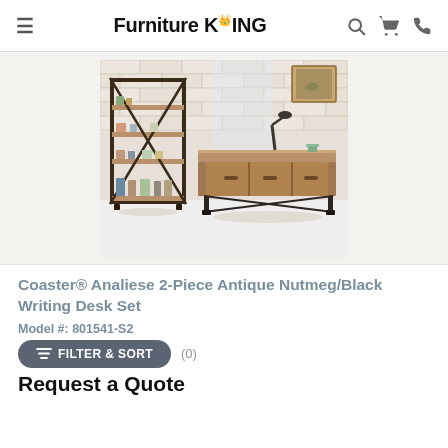Furniture King
[Figure (photo): Industrial-style 2-piece furniture set: a wooden writing desk with black metal legs and drawers, next to a matching metal and wood open bookshelf, set against a white brick wall background.]
Coaster® Analiese 2-Piece Antique Nutmeg/Black Writing Desk Set
Model #: 801541-S2
Request a Quote